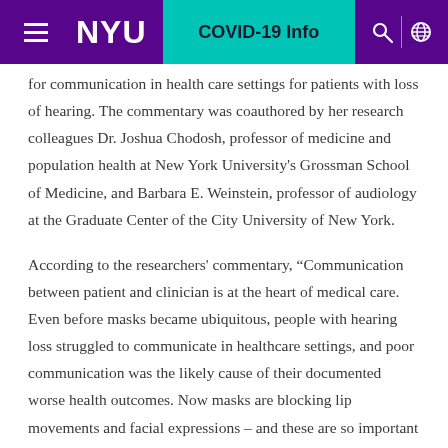NYU | COVID-19 Info
for communication in health care settings for patients with loss of hearing. The commentary was coauthored by her research colleagues Dr. Joshua Chodosh, professor of medicine and population health at New York University's Grossman School of Medicine, and Barbara E. Weinstein, professor of audiology at the Graduate Center of the City University of New York.
According to the researchers' commentary, “Communication between patient and clinician is at the heart of medical care. Even before masks became ubiquitous, people with hearing loss struggled to communicate in healthcare settings, and poor communication was the likely cause of their documented worse health outcomes. Now masks are blocking lip movements and facial expressions – and these are so important when hearing is marginal. Masks also muffle